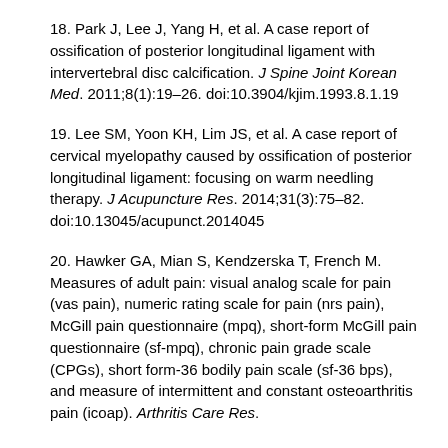18. Park J, Lee J, Yang H, et al. A case report of ossification of posterior longitudinal ligament with intervertebral disc calcification. J Spine Joint Korean Med. 2011;8(1):19–26. doi:10.3904/kjim.1993.8.1.19
19. Lee SM, Yoon KH, Lim JS, et al. A case report of cervical myelopathy caused by ossification of posterior longitudinal ligament: focusing on warm needling therapy. J Acupuncture Res. 2014;31(3):75–82. doi:10.13045/acupunct.2014045
20. Hawker GA, Mian S, Kendzerska T, French M. Measures of adult pain: visual analog scale for pain (vas pain), numeric rating scale for pain (nrs pain), McGill pain questionnaire (mpq), short-form McGill pain questionnaire (sf-mpq), chronic pain grade scale (CPGs), short form-36 bodily pain scale (sf-36 bps), and measure of intermittent and constant osteoarthritis pain (icoap). Arthritis Care Res.